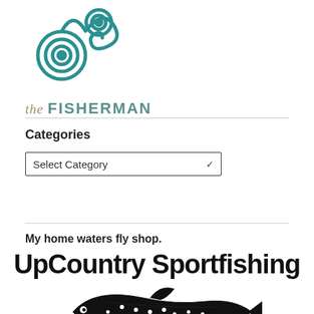[Figure (logo): Decorative teal spiral/snail logo mark for 'the FISHERMAN' website]
the FISHERMAN
Categories
Select Category (dropdown)
My home waters fly shop.
[Figure (logo): UpCountry Sportfishing logo with black hand-drawn text and a detailed illustration of a trout/salmon fish]